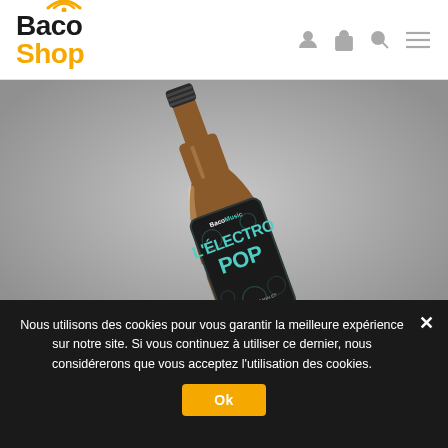Baco Shop
[Figure (photo): A brown glass beer bottle tilted diagonally on a gray gradient background. The bottle label is dark (near-black) with teal/turquoise text reading 'BacoMusic' at top and 'L'ELECTRO POP' in large letters, with decorative floral/organic patterns.]
Nous utilisons des cookies pour vous garantir la meilleure expérience sur notre site. Si vous continuez à utiliser ce dernier, nous considérerons que vous acceptez l'utilisation des cookies.